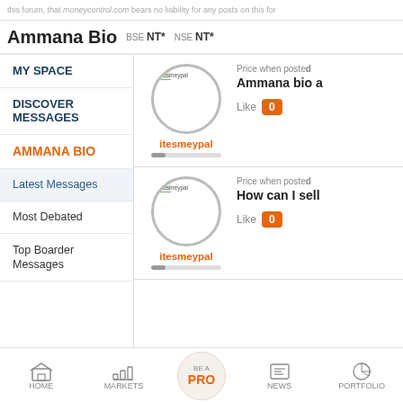this forum, that moneycontrol.com bears no liability for any posts on this for
Ammana Bio | BSE NT* | NSE NT*
MY SPACE
DISCOVER MESSAGES
AMMANA BIO
Latest Messages
Most Debated
Top Boarder Messages
[Figure (screenshot): User avatar circle for itesmeypal with placeholder image and progress bar below]
Price when posted
Ammana bio a
Like 0
[Figure (screenshot): User avatar circle for itesmeypal with placeholder image and progress bar below]
Price when posted
How can I sell
Like 0
HOME   MARKETS   BE A PRO   NEWS   PORTFOLIO